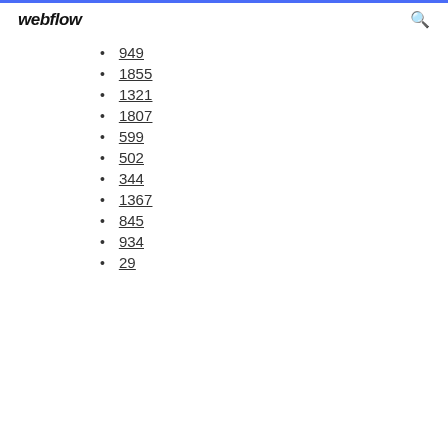webflow
949
1855
1321
1807
599
502
344
1367
845
934
29